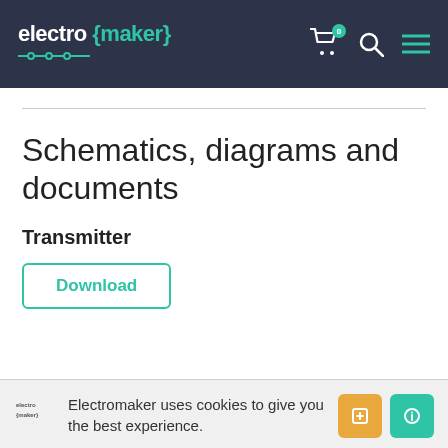electro {maker}
Schematics, diagrams and documents
Transmitter
Download
Electromaker uses cookies to give you the best experience.